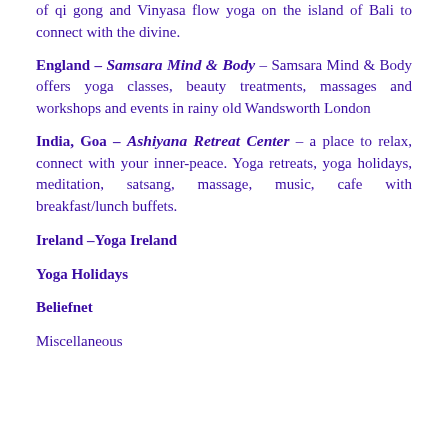of qi gong and Vinyasa flow yoga on the island of Bali to connect with the divine.
England – Samsara Mind & Body – Samsara Mind & Body offers yoga classes, beauty treatments, massages and workshops and events in rainy old Wandsworth London
India, Goa – Ashiyana Retreat Center – a place to relax, connect with your inner-peace. Yoga retreats, yoga holidays, meditation, satsang, massage, music, cafe with breakfast/lunch buffets.
Ireland –Yoga Ireland
Yoga Holidays
Beliefnet
Miscellaneous